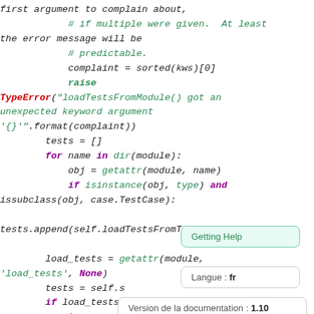[Figure (screenshot): Code snippet showing Python source code with syntax highlighting (green, red, purple keywords), and three tooltip overlays: 'Getting Help', 'Langue: fr', and 'Version de la documentation: 1.10']